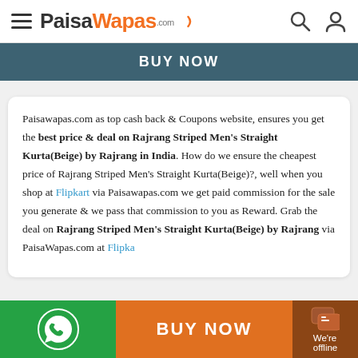PaisaWapas.com
BUY NOW
Paisawapas.com as top cash back & Coupons website, ensures you get the best price & deal on Rajrang Striped Men's Straight Kurta(Beige) by Rajrang in India. How do we ensure the cheapest price of Rajrang Striped Men's Straight Kurta(Beige)?, well when you shop at Flipkart via Paisawapas.com we get paid commission for the sale you generate & we pass that commission to you as Reward. Grab the deal on Rajrang Striped Men's Straight Kurta(Beige) by Rajrang via PaisaWapas.com at Flipka...
BUY NOW
We're offline